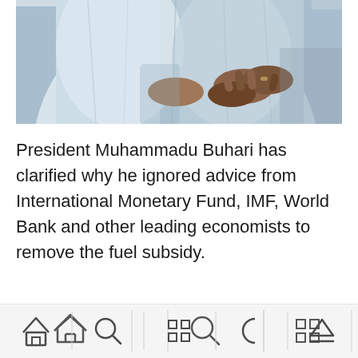[Figure (photo): Close-up photo of President Muhammadu Buhari and another person, both wearing light-colored traditional attire, with hands clasped together in the foreground]
President Muhammadu Buhari has clarified why he ignored advice from International Monetary Fund, IMF, World Bank and other leading economists to remove the fuel subsidy.
[Figure (screenshot): Mobile navigation bar with home, search, grid, moon/night mode, and eject/upload icons]